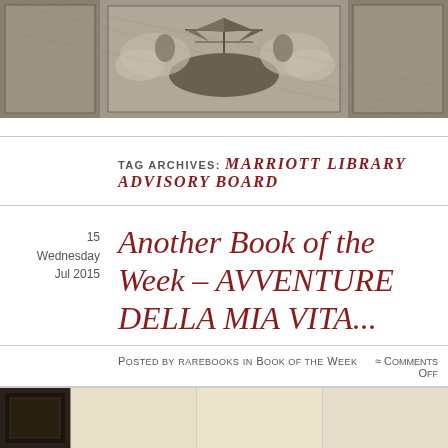[Figure (illustration): Grayscale engraving/illustration at top of page, appears to be a historical nautical or baroque image with a ship and figures]
TAG ARCHIVES: MARRIOTT LIBRARY ADVISORY BOARD
Another Book of the Week – AVVENTURE DELLA MIA VITA...
15
Wednesday
Jul 2015
Posted by rarebooks in Book of the Week  ≈ Comments Off
[Figure (photo): Bottom strip showing partial images - appears to be scanned book pages or document images]